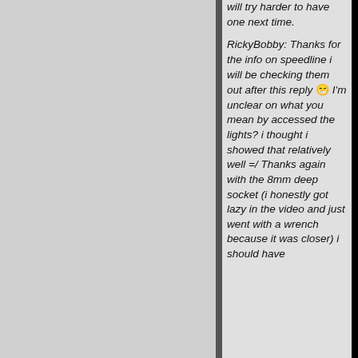will try harder to have one next time.
RickyBobby: Thanks for the info on speedline i will be checking them out after this reply 😁 I'm unclear on what you mean by accessed the lights? i thought i showed that relatively well =/ Thanks again with the 8mm deep socket (i honestly got lazy in the video and just went with a wrench because it was closer) i should have